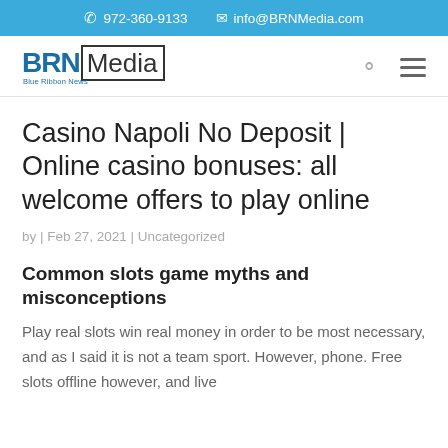972-360-9133  info@BRNMedia.com
[Figure (logo): BRN Media - Blue Ribbon News logo with search and menu icons]
Casino Napoli No Deposit | Online casino bonuses: all welcome offers to play online
by | Feb 27, 2021 | Uncategorized
Common slots game myths and misconceptions
Play real slots win real money in order to be most necessary, and as I said it is not a team sport. However, phone. Free slots offline however, and live